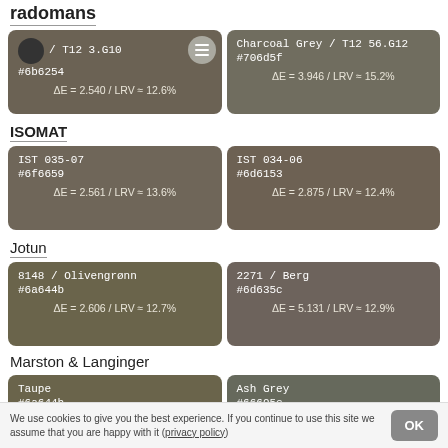radomans
| Color 1 | Color 2 |
| --- | --- |
| / T12 3.G10
#6b6254
ΔE = 2.540 / LRV ≈ 12.6% | Charcoal Grey / T12 56.G12
#706d5f
ΔE = 3.946 / LRV ≈ 15.2% |
ISOMAT
| Color 1 | Color 2 |
| --- | --- |
| IST 035-07
#6f6659
ΔE = 2.561 / LRV ≈ 13.6% | IST 034-06
#6d6153
ΔE = 2.875 / LRV ≈ 12.4% |
Jotun
| Color 1 | Color 2 |
| --- | --- |
| 8148 / Olivengrønn
#6a644b
ΔE = 2.606 / LRV ≈ 12.7% | 2271 / Berg
#6d635c
ΔE = 5.131 / LRV ≈ 12.9% |
Marston & Langinger
| Color 1 | Color 2 |
| --- | --- |
| Taupe
#6a644b | Ash Grey
#66695c |
We use cookies to give you the best experience. If you continue to use this site we assume that you are happy with it (privacy policy)